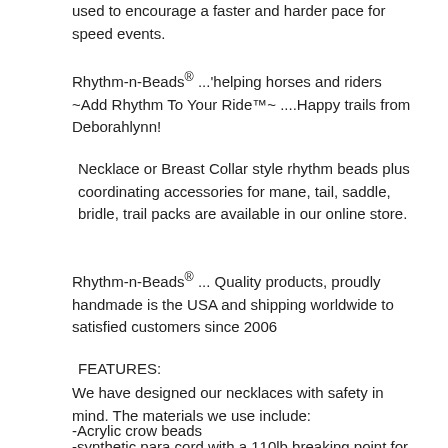used to encourage a faster and harder pace for speed events.
Rhythm-n-Beads® ...'helping horses and riders ~Add Rhythm To Your Ride™~ ....Happy trails from Deborahlynn!
Necklace or Breast Collar style rhythm beads plus coordinating accessories for mane, tail, saddle, bridle, trail packs are available in our online store.
Rhythm-n-Beads® ... Quality products, proudly handmade is the USA and shipping worldwide to satisfied customers since 2006
FEATURES:
We have designed our necklaces with safety in mind. The materials we use include:
-Acrylic crow beads
-synthetic para cord with a 110lb breaking point for the